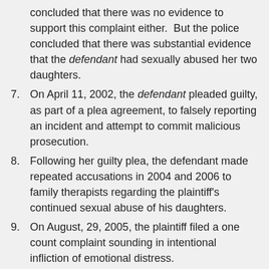concluded that there was no evidence to support this complaint either.  But the police concluded that there was substantial evidence that the defendant had sexually abused her two daughters.
7. On April 11, 2002, the defendant pleaded guilty, as part of a plea agreement, to falsely reporting an incident and attempt to commit malicious prosecution.
8. Following her guilty plea, the defendant made repeated accusations in 2004 and 2006 to family therapists regarding the plaintiff's continued sexual abuse of his daughters.
9. On August, 29, 2005, the plaintiff filed a one count complaint sounding in intentional infliction of emotional distress.